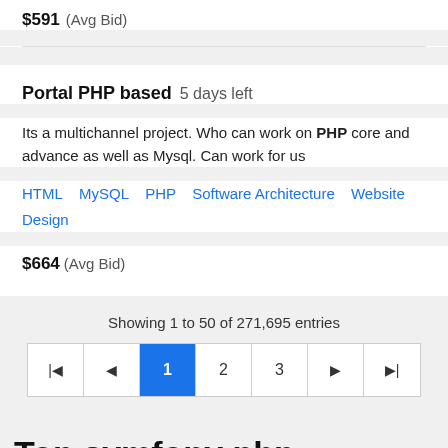$591  (Avg Bid)
Portal PHP based  5 days left
Its a multichannel project. Who can work on PHP core and advance as well as Mysql. Can work for us
HTML   MySQL   PHP   Software Architecture   Website Design
$664  (Avg Bid)
Showing 1 to 50 of 271,695 entries
Pagination: |< < 1 2 3 > >|
Top symfony php Community Articles